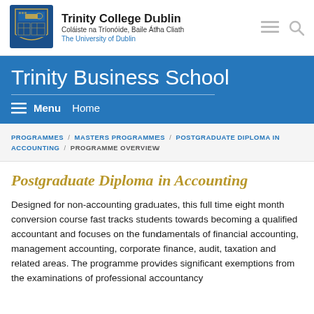[Figure (logo): Trinity College Dublin crest/shield logo in blue and gold]
Trinity College Dublin
Coláiste na Tríonóide, Baile Átha Cliath
The University of Dublin
Trinity Business School
≡ Menu   Home
PROGRAMMES / MASTERS PROGRAMMES / POSTGRADUATE DIPLOMA IN ACCOUNTING / PROGRAMME OVERVIEW
Postgraduate Diploma in Accounting
Designed for non-accounting graduates, this full time eight month conversion course fast tracks students towards becoming a qualified accountant and focuses on the fundamentals of financial accounting, management accounting, corporate finance, audit, taxation and related areas. The programme provides significant exemptions from the examinations of professional accountancy